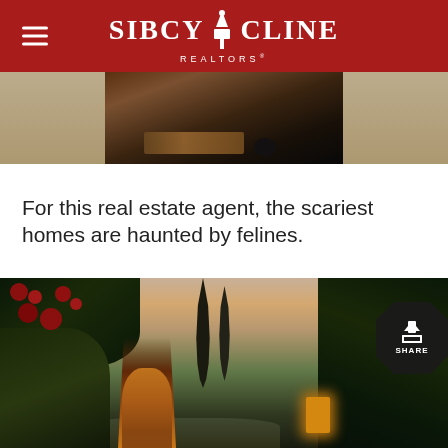Sibcy Cline Realtors
[Figure (photo): Top portion of a dark interior/exterior photo showing a doormat and a cat on a hardwood or concrete floor, partially visible]
For this real estate agent, the scariest homes are haunted by felines.
[Figure (photo): Dramatic twilight photo of an old stone house or villa entrance with ivy-covered walls, red roses cascading from the roof, tall dark cypress trees, a warm glowing wooden door, and a share button overlay in the bottom right corner]